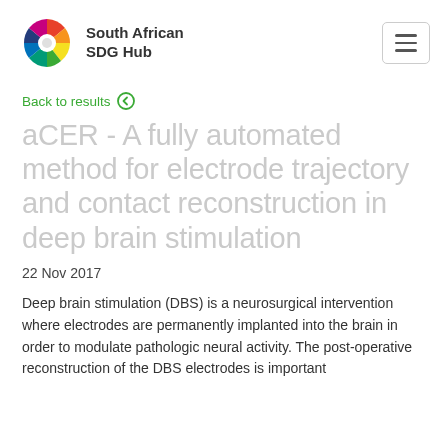[Figure (logo): South African SDG Hub logo — colorful fan/peacock SVG icon with text 'South African SDG Hub']
Back to results
aCER - A fully automated method for electrode trajectory and contact reconstruction in deep brain stimulation
22 Nov 2017
Deep brain stimulation (DBS) is a neurosurgical intervention where electrodes are permanently implanted into the brain in order to modulate pathologic neural activity. The post-operative reconstruction of the DBS electrodes is important